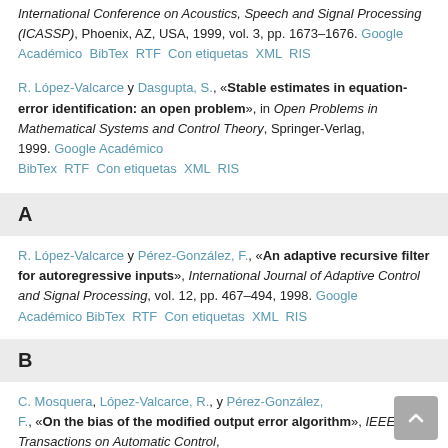International Conference on Acoustics, Speech and Signal Processing (ICASSP), Phoenix, AZ, USA, 1999, vol. 3, pp. 1673–1676. Google Académico  BibTex  RTF  Con etiquetas  XML  RIS
R. López-Valcarce y Dasgupta, S., «Stable estimates in equation-error identification: an open problem», in Open Problems in Mathematical Systems and Control Theory, Springer-Verlag, 1999. Google Académico  BibTex  RTF  Con etiquetas  XML  RIS
A
R. López-Valcarce y Pérez-González, F., «An adaptive recursive filter for autoregressive inputs», International Journal of Adaptive Control and Signal Processing, vol. 12, pp. 467–494, 1998. Google Académico  BibTex  RTF  Con etiquetas  XML  RIS
B
C. Mosquera, López-Valcarce, R., y Pérez-González, F., «On the bias of the modified output error algorithm», IEEE Transactions on Automatic Control, vol. 43, pp. 1261–1262, 1998. Google Académico